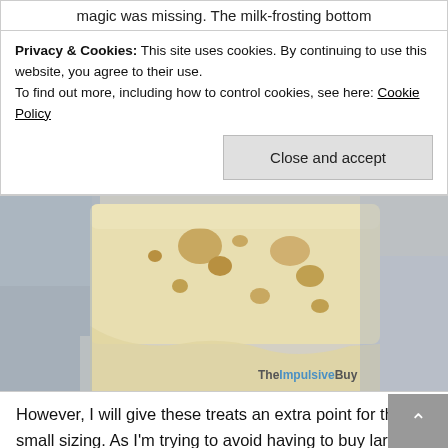magic was missing. The milk-frosting bottom
Privacy & Cookies: This site uses cookies. By continuing to use this website, you agree to their use.
To find out more, including how to control cookies, see here: Cookie Policy
Close and accept
[Figure (photo): Close-up photo of a white/cream colored fudge or candy bar with holes and porous texture, placed on a plastic bag. Watermark reads 'TheImpulsiveBuy' in the bottom right corner.]
However, I will give these treats an extra point for the small sizing. As I'm trying to avoid having to buy larger pants in January, I appreciated the 1" x 4" size, which racks up a fairly small calorie